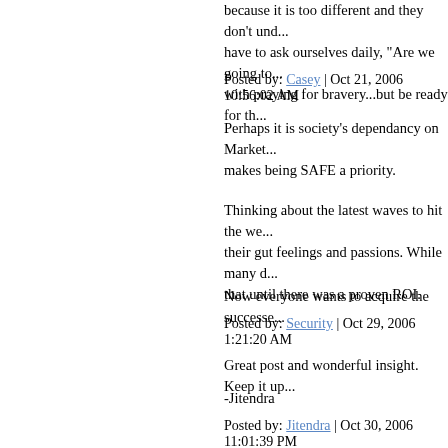because it is too different and they don't und... have to ask ourselves daily, "Are we going to... with praying for bravery...but be ready for th...
Posted by: Casey | Oct 21, 2006 10:56:02 AM
Perhaps it is society's dependancy on Market... makes being SAFE a priority.
Thinking about the latest waves to hit the we... their gut feelings and passions. While many d... that until there was a proven ROI.
Now everyone wants to acquire the successe...
Posted by: Security | Oct 29, 2006 1:21:20 AM
Great post and wonderful insight. Keep it up...
-Jitendra
Posted by: Jitendra | Oct 30, 2006 11:01:39 PM